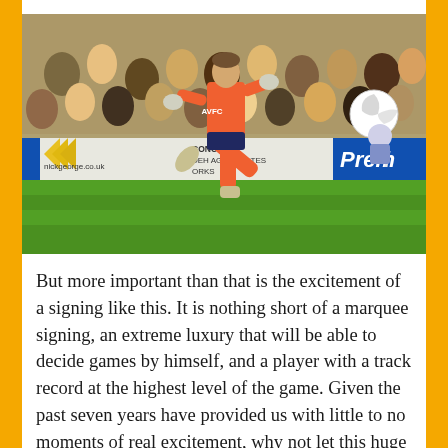[Figure (photo): A goalkeeper in a bright pink/coral kit kicking a football during a match. The player is mid-kick with one leg extended. In the background is a stadium crowd and advertising hoardings including 'nickgeorge.co.uk', 'CONCRETE DEH AGGREGATES ORKS', and a 'Premi' (Premier League) banner. The pitch is green grass.]
But more important than that is the excitement of a signing like this. It is nothing short of a marquee signing, an extreme luxury that will be able to decide games by himself, and a player with a track record at the highest level of the game. Given the past seven years have provided us with little to no moments of real excitement, why not let this huge gamble be a source of excitement